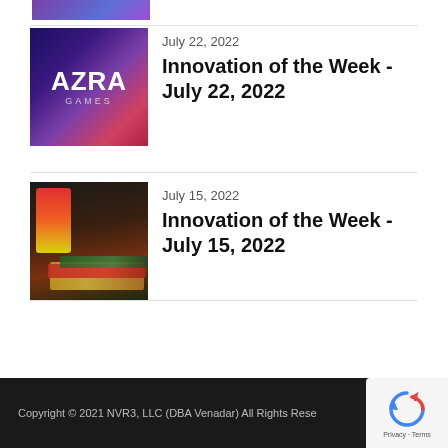[Figure (screenshot): Partial top image strip showing purple/blue gradient graphic]
[Figure (photo): AZRA Games logo on dark purple/pink background with geometric crystal shapes]
July 22, 2022
Innovation of the Week - July 22, 2022
[Figure (photo): Sandwich and food product packaging on dark background]
July 15, 2022
Innovation of the Week - July 15, 2022
Copyright © 2021 NVR3, LLC (DBA Venadar) All Rights Reserved